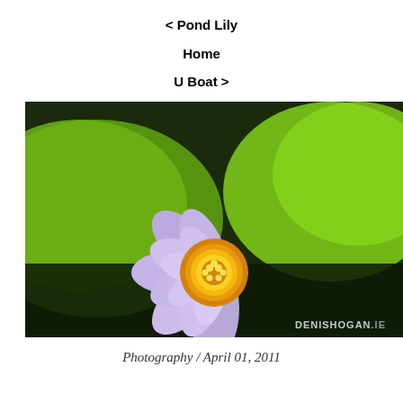< Pond Lily
Home
U Boat >
[Figure (photo): Close-up photograph of a purple/lavender water lily (pond lily) with a bright yellow center, surrounded by green lily pads, dark background. Watermark: DENISHOGAN.IE in bottom right corner.]
Photography / April 01, 2011